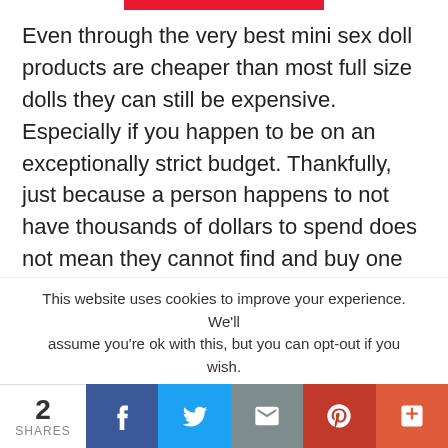Even through the very best mini sex doll products are cheaper than most full size dolls they can still be expensive. Especially if you happen to be on an exceptionally strict budget. Thankfully, just because a person happens to not have thousands of dollars to spend does not mean they cannot find and buy one of the best mini sex doll products available.

If you are one of the many people who have a strict Quita Doll's Luxury Sex Doll Torso could be just what you are looking for. This is the cheapest of our choices
This website uses cookies to improve your experience. We'll assume you're ok with this, but you can opt-out if you wish.
2 SHARES | Facebook | Twitter | Email | Pinterest | More